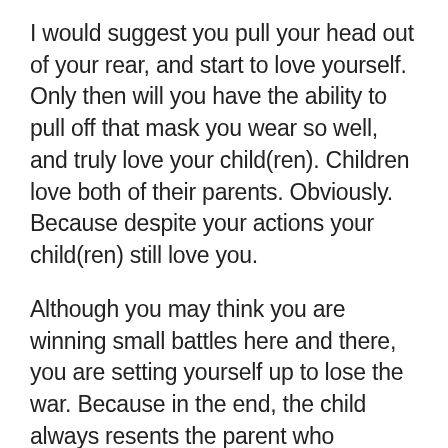I would suggest you pull your head out of your rear, and start to love yourself. Only then will you have the ability to pull off that mask you wear so well, and truly love your child(ren). Children love both of their parents. Obviously. Because despite your actions your child(ren) still love you.
Although you may think you are winning small battles here and there, you are setting yourself up to lose the war. Because in the end, the child always resents the parent who manipulates them just as you are doing now. You are doing irreversible damage to your child(ren).
So I think it is time that you pick on someone your own size. The world has enough to deal with, and the last thing it needs... is one more person in